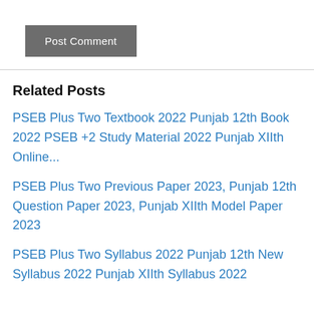Post Comment
Related Posts
PSEB Plus Two Textbook 2022 Punjab 12th Book 2022 PSEB +2 Study Material 2022 Punjab XIIth Online...
PSEB Plus Two Previous Paper 2023, Punjab 12th Question Paper 2023, Punjab XIIth Model Paper 2023
PSEB Plus Two Syllabus 2022 Punjab 12th New Syllabus 2022 Punjab XIIth Syllabus 2022